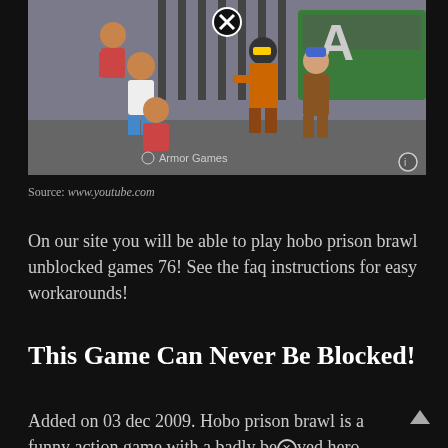[Figure (screenshot): Screenshot of Hobo Prison Brawl game showing cartoon characters including men in orange prison jumpsuits and other figures, with 'Armor Games' watermark and a close button at top center]
Source: www.youtube.com
On our site you will be able to play hobo prison brawl unblocked games 76! See the faq instructions for easy workarounds!
This Game Can Never Be Blocked!
Added on 03 dec 2009. Hobo prison brawl is a funny action game with a badly beloved hero. Hobo prison